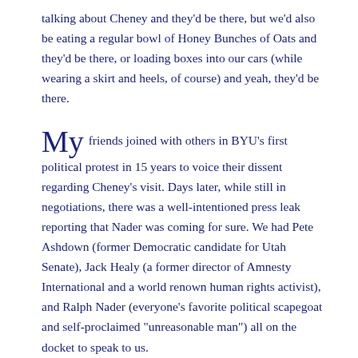talking about Cheney and they'd be there, but we'd also be eating a regular bowl of Honey Bunches of Oats and they'd be there, or loading boxes into our cars (while wearing a skirt and heels, of course) and yeah, they'd be there.
My friends joined with others in BYU's first political protest in 15 years to voice their dissent regarding Cheney's visit. Days later, while still in negotiations, there was a well-intentioned press leak reporting that Nader was coming for sure. We had Pete Ashdown (former Democratic candidate for Utah Senate), Jack Healy (a former director of Amnesty International and a world renown human rights activist), and Ralph Nader (everyone's favorite political scapegoat and self-proclaimed "unreasonable man") all on the docket to speak to us.